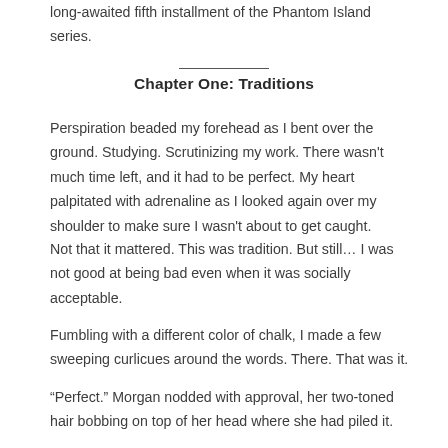long-awaited fifth installment of the Phantom Island series.
Chapter One: Traditions
Perspiration beaded my forehead as I bent over the ground. Studying. Scrutinizing my work. There wasn't much time left, and it had to be perfect. My heart palpitated with adrenaline as I looked again over my shoulder to make sure I wasn't about to get caught.
Not that it mattered. This was tradition. But still… I was not good at being bad even when it was socially acceptable.
Fumbling with a different color of chalk, I made a few sweeping curlicues around the words. There. That was it.
“Perfect.” Morgan nodded with approval, her two-toned hair bobbing on top of her head where she had piled it.